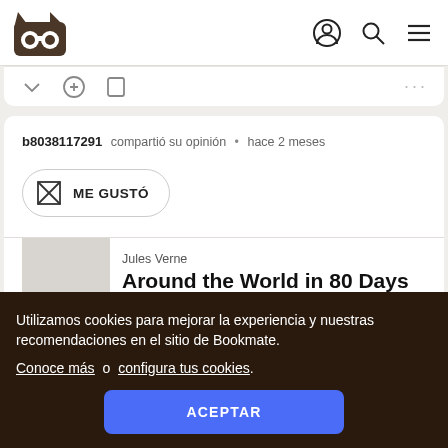Bookmate navigation bar with logo and icons
b8038117291 compartió su opinión • hace 2 meses
ME GUSTÓ
Jules Verne
Around the World in 80 Days
Utilizamos cookies para mejorar la experiencia y nuestras recomendaciones en el sitio de Bookmate. Conoce más o configura tus cookies.
ACEPTAR